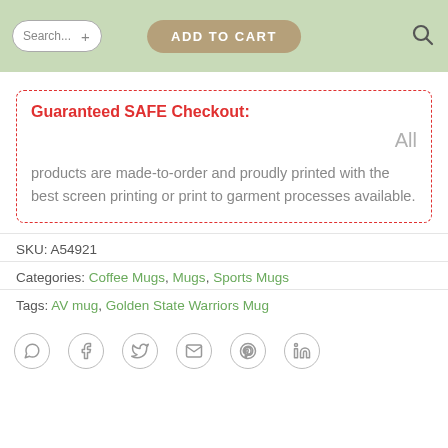Guaranteed SAFE Checkout:
All products are made-to-order and proudly printed with the best screen printing or print to garment processes available.
SKU: A54921
Categories: Coffee Mugs, Mugs, Sports Mugs
Tags: AV mug, Golden State Warriors Mug